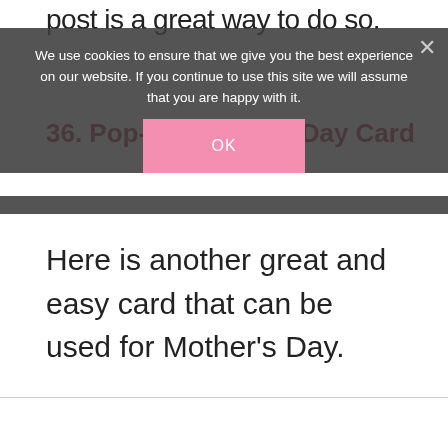post is a great way to do so.
36. Pop-up Mother's Day Card
Here is another great and easy card that can be used for Mother's Day.
We use cookies to ensure that we give you the best experience on our website. If you continue to use this site we will assume that you are happy with it.
OK